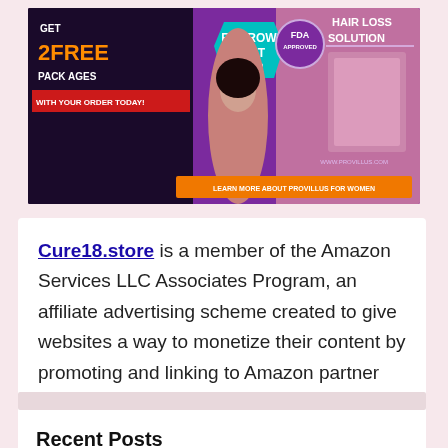[Figure (illustration): Advertisement banner for Provillus hair loss solution. Shows a woman touching her hair on a dark/purple background. Text reads: GET 2FREE PACKAGES WITH YOUR ORDER TODAY!, REGROW LOST HAIR, FDA APPROVED, HAIR LOSS SOLUTION, www.provillus.com, LEARN MORE ABOUT PROVILLUS FOR WOMEN.]
Cure18.store is a member of the Amazon Services LLC Associates Program, an affiliate advertising scheme created to give websites a way to monetize their content by promoting and linking to Amazon partner websites.
Recent Posts